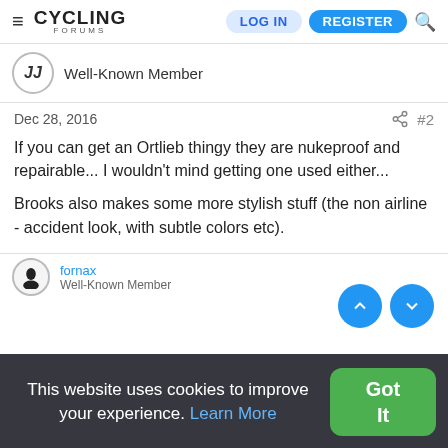CYCLING FORUMS — LOG IN | REGISTER
Well-Known Member
Dec 28, 2016   #2
If you can get an Ortlieb thingy they are nukeproof and repairable... I wouldn't mind getting one used either...
Brooks also makes some more stylish stuff (the non airline - accident look, with subtle colors etc).
Or you could just get a raincover for your existing gear.
Specialized introduced a commuting bags line recently too...
This website uses cookies to improve your experience. Learn More
Got It
Well-Known Member